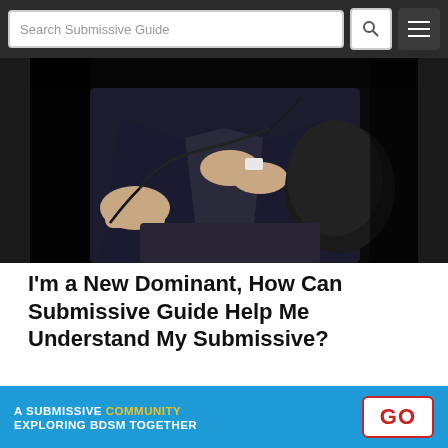Search Submissive Guide
[Figure (photo): Person in dark suit holding a whip/flogger, hands visible, dramatic black background]
I'm a New Dominant, How Can Submissive Guide Help Me Understand My Submissive?
[Figure (other): Loading spinner/table icon in blue]
A SUBMISSIVE COMMUNITY EXPLORING BDSM TOGETHER GO